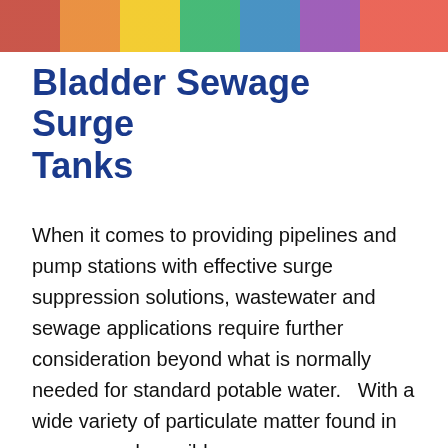[Image banner at top of page]
Bladder Sewage Surge Tanks
When it comes to providing pipelines and pump stations with effective surge suppression solutions, wastewater and sewage applications require further consideration beyond what is normally needed for standard potable water.   With a wide variety of particulate matter found in sewage and possible concerns over clogging from potential sedimentation build-up due to